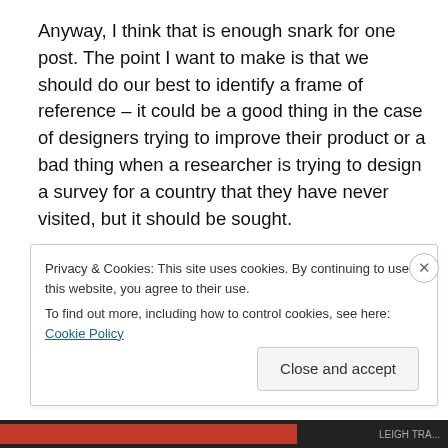Anyway, I think that is enough snark for one post. The point I want to make is that we should do our best to identify a frame of reference – it could be a good thing in the case of designers trying to improve their product or a bad thing when a researcher is trying to design a survey for a country that they have never visited, but it should be sought.
Some in advertising may disagree as it promotes the
Privacy & Cookies: This site uses cookies. By continuing to use this website, you agree to their use.
To find out more, including how to control cookies, see here: Cookie Policy